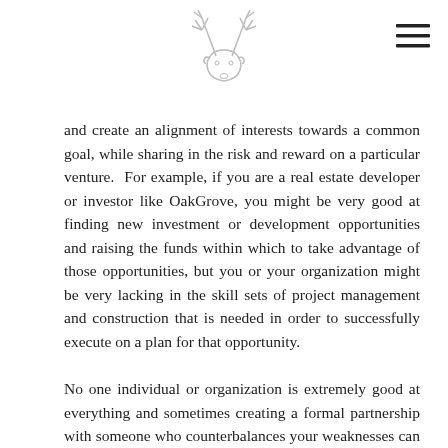[Figure (logo): OakGrove deer/stag logo illustration in light gray outline style, centered at top of page]
[Figure (other): Hamburger menu icon (three horizontal lines) in top right corner]
and create an alignment of interests towards a common goal, while sharing in the risk and reward on a particular venture.  For example, if you are a real estate developer or investor like OakGrove, you might be very good at finding new investment or development opportunities and raising the funds within which to take advantage of those opportunities, but you or your organization might be very lacking in the skill sets of project management and construction that is needed in order to successfully execute on a plan for that opportunity.
No one individual or organization is extremely good at everything and sometimes creating a formal partnership with someone who counterbalances your weaknesses can be very effective in lowering the risk of a given project and increase the probability of success.  As an individual, I have created partnerships